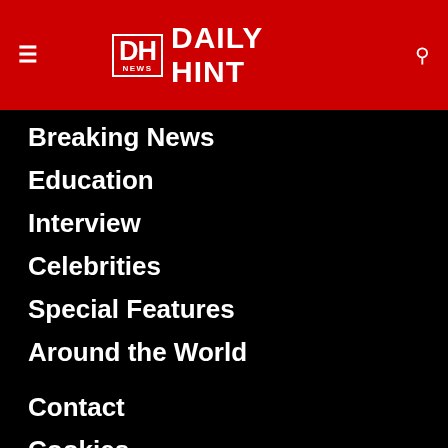DH NEWS DAILY HINT
Breaking News
Education
Interview
Celebrities
Special Features
Around the World
Contact
Cookies
This website uses cookies to improve your experience. We'll assume you're ok with this, but you can opt-out if you wish. Read More